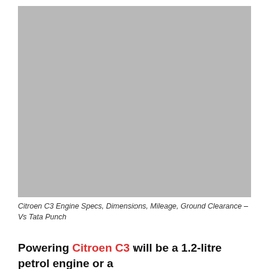[Figure (photo): Placeholder grey rectangle representing a car photo (Citroen C3 vs Tata Punch comparison image)]
Citroen C3 Engine Specs, Dimensions, Mileage, Ground Clearance – Vs Tata Punch
Powering Citroen C3 will be a 1.2-litre petrol engine or a